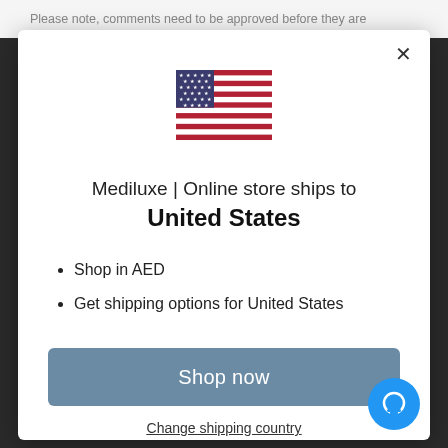Please note, comments need to be approved before they are
[Figure (illustration): US flag icon]
Mediluxe | Online store ships to United States
Shop in AED
Get shipping options for United States
Shop now
Change shipping country